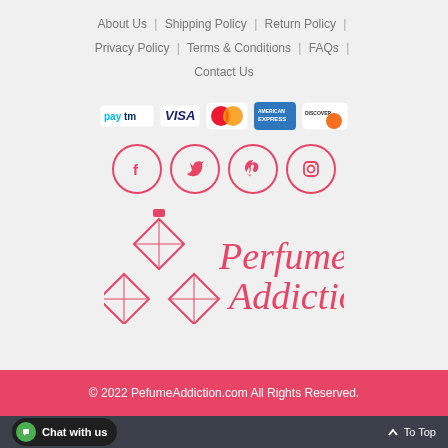About Us | Shipping Policy | Return Policy | Privacy Policy | Terms & Conditions | FAQs | Contact Us
[Figure (logo): Payment method icons: Paytm, Visa, Mastercard, American Express, Discover]
[Figure (illustration): Social media icons: Facebook, Twitter, Pinterest, Instagram in pink circles]
[Figure (logo): Perfume Addiction brand logo with geometric diamond pattern in red/pink]
© 2022 PefumeAddiction.com All Rights Reserved.
Chat with us   ↑ To Top